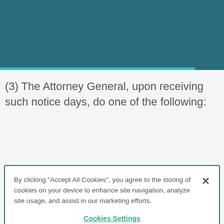(3) The Attorney General, upon receiving such notice days, do one of the following:
By clicking "Accept All Cookies", you agree to the storing of cookies on your device to enhance site navigation, analyze site usage, and assist in our marketing efforts.
Cookies Settings
Reject All
Accept Cookies